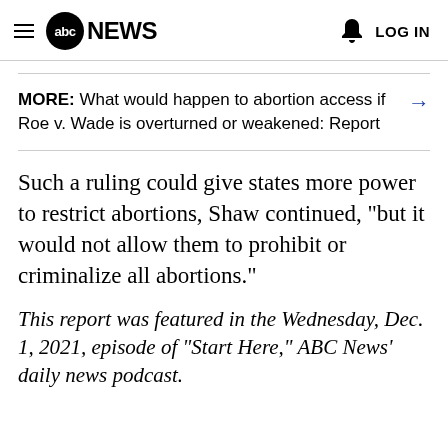abc NEWS  LOG IN
MORE: What would happen to abortion access if Roe v. Wade is overturned or weakened: Report →
Such a ruling could give states more power to restrict abortions, Shaw continued, "but it would not allow them to prohibit or criminalize all abortions."
This report was featured in the Wednesday, Dec. 1, 2021, episode of "Start Here," ABC News' daily news podcast.